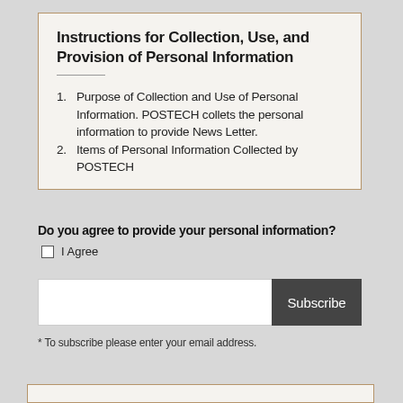Instructions for Collection, Use, and Provision of Personal Information
1. Purpose of Collection and Use of Personal Information. POSTECH collets the personal information to provide News Letter.
2. Items of Personal Information Collected by POSTECH
Do you agree to provide your personal information?
I Agree
Subscribe
* To subscribe please enter your email address.